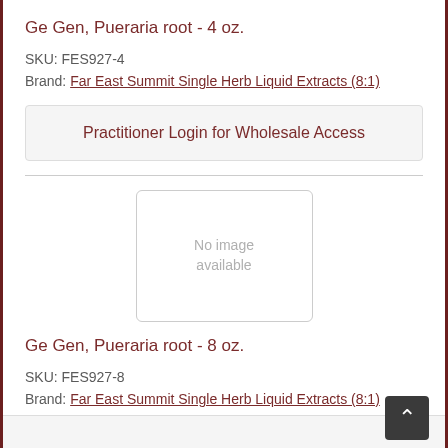Ge Gen, Pueraria root - 4 oz.
SKU: FES927-4
Brand: Far East Summit Single Herb Liquid Extracts (8:1)
Practitioner Login for Wholesale Access
[Figure (other): No image available placeholder box]
Ge Gen, Pueraria root - 8 oz.
SKU: FES927-8
Brand: Far East Summit Single Herb Liquid Extracts (8:1)